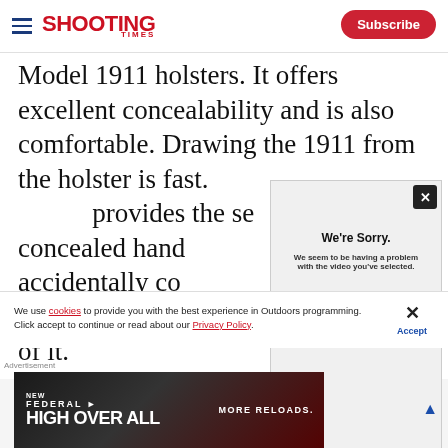SHOOTING TIMES | Subscribe
Model 1911 holsters. It offers excellent concealability and is also comfortable. Drawing the 1911 from the holster is fast. [provides the se...] provides the security concealed hand[gun...] accidentally co[me out...] to be pretty dif[ficult...] of it.
[Figure (screenshot): Video error overlay with 'We're Sorry. We seem to be having a problem with the video you've selected.' message and close button. Shows ERROR CODE at bottom right.]
We use cookies to provide you with the best experience in Outdoors programming. Click accept to continue or read about our Privacy Policy.
[Figure (other): Advertisement for Federal High Overall ammunition. Shows 'NEW FEDERAL HIGH OVER ALL MORE RELOADS.' text on dark background with ammo imagery.]